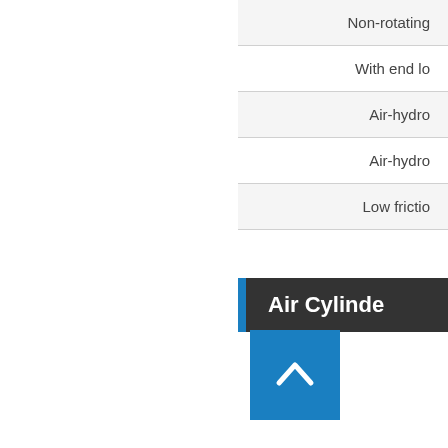Non-rotating
With end lo
Air-hydro
Air-hydro
Low frictio
Air Cylinde
[Figure (other): Blue scroll-to-top button with upward chevron arrow]